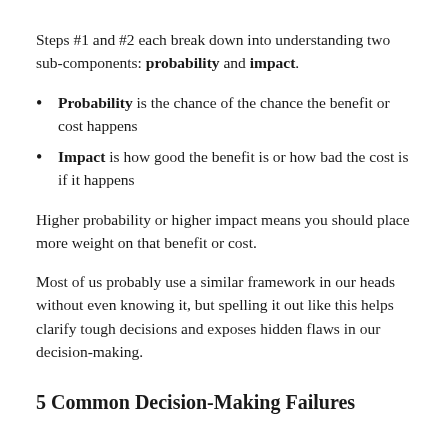Steps #1 and #2 each break down into understanding two sub-components: probability and impact.
Probability is the chance of the chance the benefit or cost happens
Impact is how good the benefit is or how bad the cost is if it happens
Higher probability or higher impact means you should place more weight on that benefit or cost.
Most of us probably use a similar framework in our heads without even knowing it, but spelling it out like this helps clarify tough decisions and exposes hidden flaws in our decision-making.
5 Common Decision-Making Failures